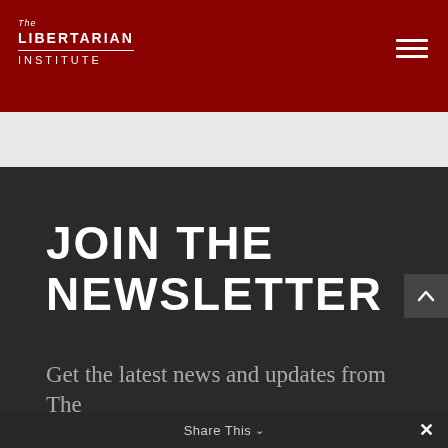The Libertarian Institute
JOIN THE NEWSLETTER
Get the latest news and updates from The Libertarian Institute
Share This